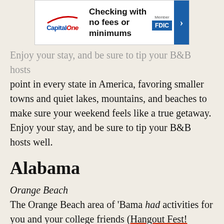[Figure (other): Capital One advertisement banner: 'Checking with no fees or minimums', Member FDIC]
point in every state in America, favoring smaller towns and quiet lakes, mountains, and beaches to make sure your weekend feels like a true getaway. Enjoy your stay, and be sure to tip your B&B hosts well.
Alabama
Orange Beach
The Orange Beach area of 'Bama had activities for you and your college friends (Hangout Fest! Pristine beaches ripe for dumping your cooler of cheap lager!), but it also boasts plenty to do now that you're an adult and attempting to impress someone